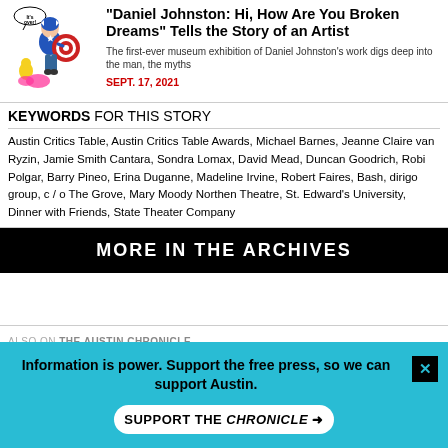[Figure (illustration): Colorful comic-style illustration of Captain America-like figure with shield, with a small character and speech bubble saying 'It's over!']
"Daniel Johnston: Hi, How Are You" Tells the Story of an Artist
The first-ever museum exhibition of Daniel Johnston's work digs deep into the man, the myths
SEPT. 17, 2021
KEYWORDS FOR THIS STORY
Austin Critics Table, Austin Critics Table Awards, Michael Barnes, Jeanne Claire van Ryzin, Jamie Smith Cantara, Sondra Lomax, David Mead, Duncan Goodrich, Robi Polgar, Barry Pineo, Erina Duganne, Madeline Irvine, Robert Faires, Bash, dirigo group, c / o The Grove, Mary Moody Northen Theatre, St. Edward's University, Dinner with Friends, State Theater Company
MORE IN THE ARCHIVES
ALSO ON THE AUSTIN CHRONICLE
Information is power. Support the free press, so we can support Austin.
SUPPORT THE CHRONICLE →